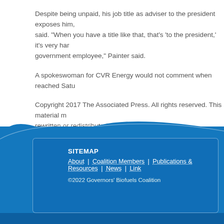Despite being unpaid, his job title as adviser to the president exposes him, Painter said. “When you have a title like that, that’s ‘to the president,’ it’s very har… government employee,” Painter said.
A spokeswoman for CVR Energy would not comment when reached Satu…
Copyright 2017 The Associated Press. All rights reserved. This material m… rewritten or redistributed.
Previous | Next
SITEMAP
About | Coalition Members | Publications & Resources | News | Link…
©2022 Governors’ Biofuels Coalition